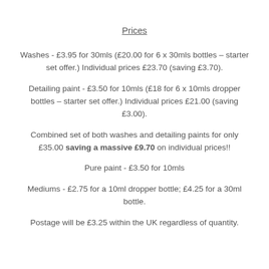Prices
Washes - £3.95 for 30mls (£20.00 for 6 x 30mls bottles – starter set offer.) Individual prices £23.70 (saving £3.70).
Detailing paint - £3.50 for 10mls (£18 for 6 x 10mls dropper bottles – starter set offer.) Individual prices £21.00 (saving £3.00).
Combined set of both washes and detailing paints for only £35.00 saving a massive £9.70 on individual prices!!
Pure paint - £3.50 for 10mls
Mediums - £2.75 for a 10ml dropper bottle; £4.25 for a 30ml bottle.
Postage will be £3.25 within the UK regardless of quantity.